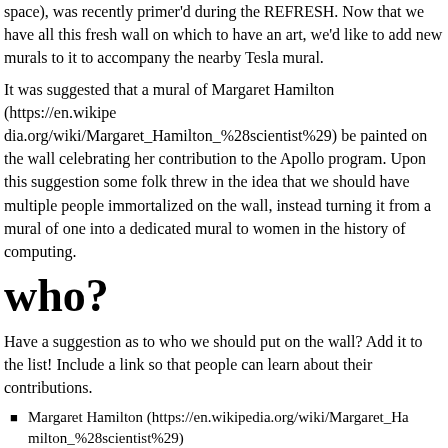space), was recently primer'd during the REFRESH. Now that we have all this fresh wall on which to have an art, we'd like to add new murals to it to accompany the nearby Tesla mural.
It was suggested that a mural of Margaret Hamilton (https://en.wikipedia.org/wiki/Margaret_Hamilton_%28scientist%29) be painted on the wall celebrating her contribution to the Apollo program. Upon this suggestion some folk threw in the idea that we should have multiple people immortalized on the wall, instead turning it from a mural of one into a dedicated mural to women in the history of computing.
who?
Have a suggestion as to who we should put on the wall? Add it to the list! Include a link so that people can learn about their contributions.
Margaret Hamilton (https://en.wikipedia.org/wiki/Margaret_Hamilton_%28scientist%29)
Ada Lovelace (https://en.wikipedia.org/wiki/Ada_Lovelace)
Grace Hopper (https://en.wikipedia.org/wiki/Grace_Hopper)
Lynn Conway (https://en.wikipedia.org/wiki/Lynn_Conway)
Kay McNulty (https://en.wikipedia.org/wiki/Kathleen_Antonelli)